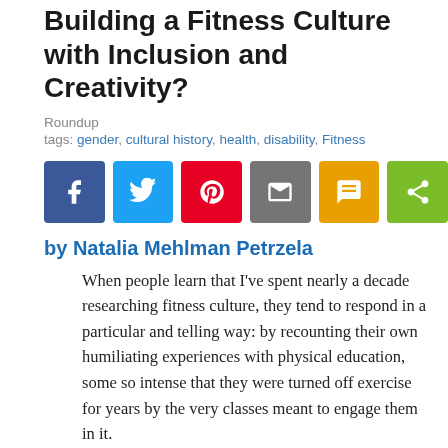Building a Fitness Culture with Inclusion and Creativity?
Roundup
tags: gender, cultural history, health, disability, Fitness
[Figure (infographic): Six social sharing buttons: Facebook (blue), Twitter (light blue), Pinterest (red), Email (gray), SMS (yellow/gold), Share (green)]
by Natalia Mehlman Petrzela
When people learn that I've spent nearly a decade researching fitness culture, they tend to respond in a particular and telling way: by recounting their own humiliating experiences with physical education, some so intense that they were turned off exercise for years by the very classes meant to engage them in it.